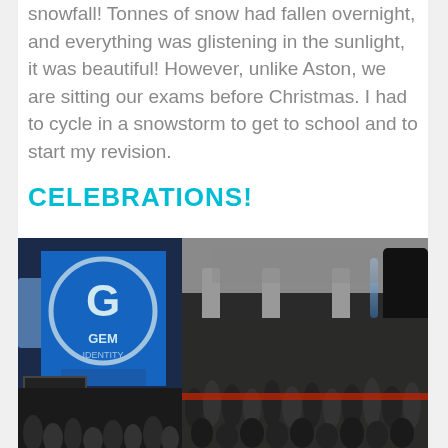snowfall! Tonnes of snow had fallen overnight, and everything was glistening in the sunlight, it was beautiful! However, unlike Aston, we are sitting our exams before Christmas. I had to cycle in a snowstorm to get to school and to start my revision.
CELEBRATIONS!
[Figure (photo): Indoor event photo showing a large crowd gathered in what appears to be an atrium or event space. A blue GEM Identity banner/sign is visible on the left side. The crowd fills the lower portion of the image. A dark silhouette figure is visible on the right edge.]